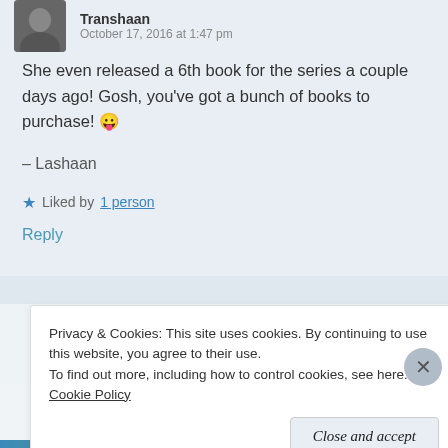Transhaan — October 17, 2016 at 1:47 pm
She even released a 6th book for the series a couple days ago! Gosh, you've got a bunch of books to purchase! 😛
– Lashaan
★ Liked by 1 person
Reply
AdoptaBookAUS — October 17, 2016 at 1:51 pm
Privacy & Cookies: This site uses cookies. By continuing to use this website, you agree to their use.
To find out more, including how to control cookies, see here: Cookie Policy
Close and accept